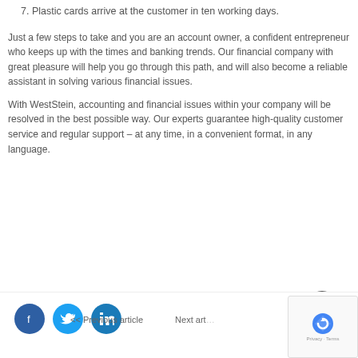7. Plastic cards arrive at the customer in ten working days.
Just a few steps to take and you are an account owner, a confident entrepreneur who keeps up with the times and banking trends. Our financial company with great pleasure will help you go through this path, and will also become a reliable assistant in solving various financial issues.
With WestStein, accounting and financial issues within your company will be resolved in the best possible way. Our experts guarantee high-quality customer service and regular support – at any time, in a convenient format, in any language.
<< Previous article   Next article